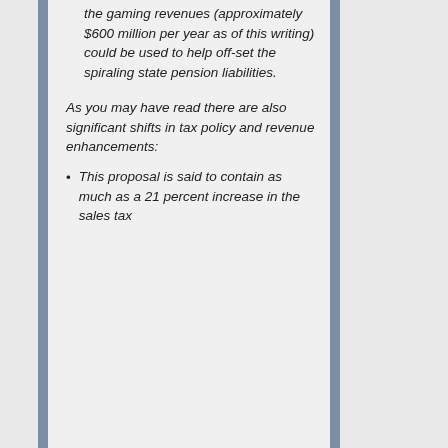the gaming revenues (approximately $600 million per year as of this writing) could be used to help off-set the spiraling state pension liabilities.
As you may have read there are also significant shifts in tax policy and revenue enhancements:
This proposal is said to contain as much as a 21 percent increase in the sales tax